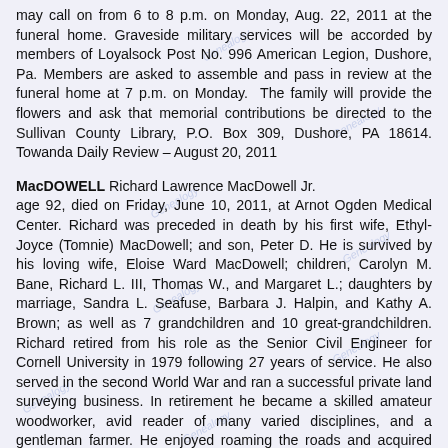may call on from 6 to 8 p.m. on Monday, Aug. 22, 2011 at the funeral home. Graveside military services will be accorded by members of Loyalsock Post No. 996 American Legion, Dushore, Pa. Members are asked to assemble and pass in review at the funeral home at 7 p.m. on Monday.  The family will provide the flowers and ask that memorial contributions be directed to the Sullivan County Library, P.O. Box 309, Dushore, PA 18614. Towanda Daily Review – August 20, 2011
MacDOWELL Richard Lawrence MacDowell Jr. age 92, died on Friday, June 10, 2011, at Arnot Ogden Medical Center. Richard was preceded in death by his first wife, Ethyl-Joyce (Tomnie) MacDowell; and son, Peter D. He is survived by his loving wife, Eloise Ward MacDowell; children, Carolyn M. Bane, Richard L. III, Thomas W., and Margaret L.; daughters by marriage, Sandra L. Seafuse, Barbara J. Halpin, and Kathy A. Brown; as well as 7 grandchildren and 10 great-grandchildren. Richard retired from his role as the Senior Civil Engineer for Cornell University in 1979 following 27 years of service. He also served in the second World War and ran a successful private land surveying business. In retirement he became a skilled amateur woodworker, avid reader of many varied disciplines, and a gentleman farmer. He enjoyed roaming the roads and acquired extensive knowledge of the surrounding counties and the country through his travels and reading. He and Eloise built a lovely home